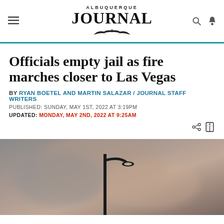Albuquerque Journal
Officials empty jail as fire marches closer to Las Vegas
BY RYAN BOETEL AND MARTIN SALAZAR / JOURNAL STAFF WRITERS
PUBLISHED: SUNDAY, MAY 1ST, 2022 AT 3:19PM
UPDATED: MONDAY, MAY 2ND, 2022 AT 9:25AM
[Figure (photo): Smoky sky with a street lamp silhouetted against wildfire smoke near Las Vegas, NM]